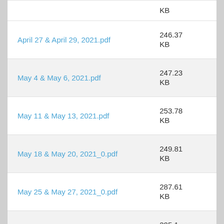| Name | Size |
| --- | --- |
| April 27 & April 29, 2021.pdf | 246.37 KB |
| May 4 & May 6, 2021.pdf | 247.23 KB |
| May 11 & May 13, 2021.pdf | 253.78 KB |
| May 18 & May 20, 2021_0.pdf | 249.81 KB |
| May 25 & May 27, 2021_0.pdf | 287.61 KB |
| (partial) | 205.1... |